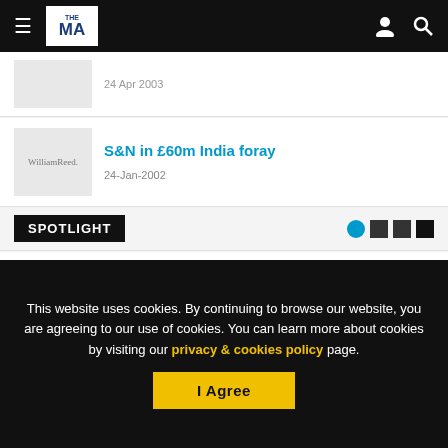The MA navigation bar
24 Apr 2003
S&N in £60m India foray
24-Jan-2002
SPOTLIGHT
The search is on for the Top 50 Boutique
This website uses cookies. By continuing to browse our website, you are agreeing to our use of cookies. You can learn more about cookies by visiting our privacy & cookies policy page.
I Agree